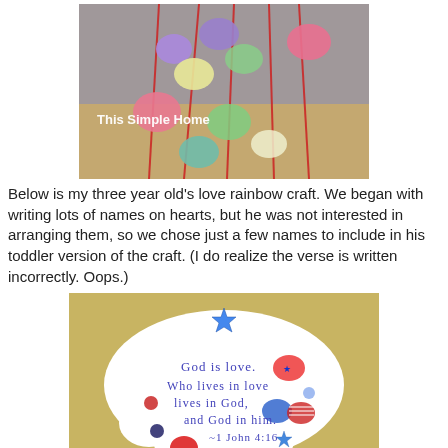[Figure (photo): Photo of colorful paper hearts threaded on red yarn strands hanging from above, with text watermark 'This Simple Home' overlaid in white bold text. Hearts are various colors including pink, purple, green, yellow. Background is a wooden surface.]
Below is my three year old's love rainbow craft.  We began with writing lots of names on hearts, but he was not interested in arranging them, so we chose just a few names to include in his toddler version of the craft.  (I do realize the verse is written incorrectly.  Oops.)
[Figure (photo): Photo of a cloud-shaped white paper craft on a tan/gold background. The cloud has stickers (patriotic hearts, stars) and handwritten text in blue reading: 'God is love. Who lives in love lives in God, and God in him. ~1 John 4:16']